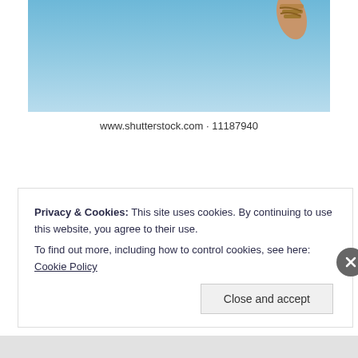[Figure (photo): Partial view of a person's feet/sandals against a blue sky background, Shutterstock stock photo]
www.shutterstock.com · 11187940
Leave a comment
[Figure (illustration): Decorative horizontal divider with ornamental dots in the center]
Privacy & Cookies: This site uses cookies. By continuing to use this website, you agree to their use.
To find out more, including how to control cookies, see here: Cookie Policy
Close and accept